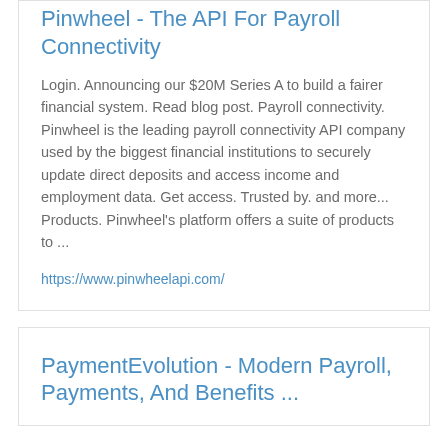Pinwheel - The API For Payroll Connectivity
Login. Announcing our $20M Series A to build a fairer financial system. Read blog post. Payroll connectivity. Pinwheel is the leading payroll connectivity API company used by the biggest financial institutions to securely update direct deposits and access income and employment data. Get access. Trusted by. and more... Products. Pinwheel's platform offers a suite of products to ...
https://www.pinwheelapi.com/
PaymentEvolution - Modern Payroll, Payments, And Benefits ...